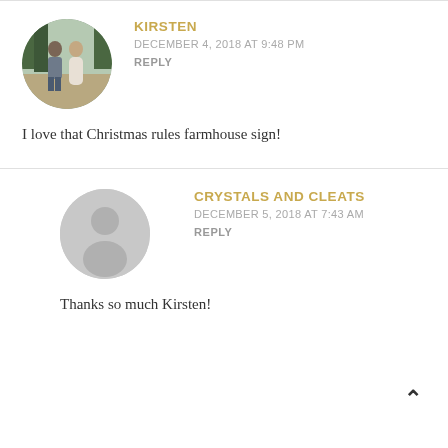KIRSTEN
DECEMBER 4, 2018 AT 9:48 PM
REPLY
I love that Christmas rules farmhouse sign!
[Figure (photo): Circular avatar photo of a couple standing outdoors in a field with trees in background]
CRYSTALS AND CLEATS
DECEMBER 5, 2018 AT 7:43 AM
REPLY
Thanks so much Kirsten!
[Figure (illustration): Generic gray circular placeholder avatar with person silhouette]